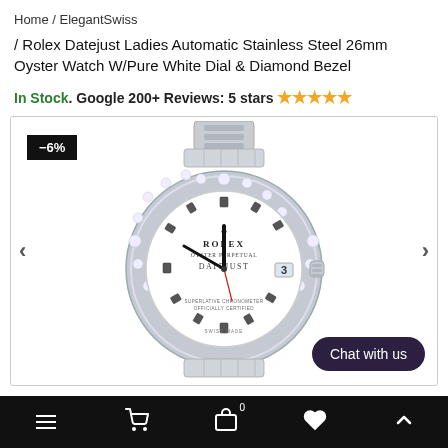Home / ElegantSwiss
/ Rolex Datejust Ladies Automatic Stainless Steel 26mm Oyster Watch W/Pure White Dial & Diamond Bezel
In Stock. Google 200+ Reviews: 5 stars ★★★★★
[Figure (photo): Rolex Datejust Ladies watch with diamond bezel, white dial with diamond hour markers, stainless steel oyster bracelet, showing -6% discount badge, with navigation arrows and Chat with us button]
Navigation bar with menu, cart, bag (0), heart, and up arrow icons